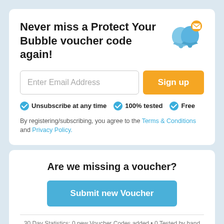Never miss a Protect Your Bubble voucher code again!
Enter Email Address
Sign up
Unsubscribe at any time
100% tested
Free
By registering/subscribing, you agree to the Terms & Conditions and Privacy Policy.
Are we missing a voucher?
Submit new Voucher
30 Day Statistics: 0 new Voucher Codes added • 0 Tested by hand